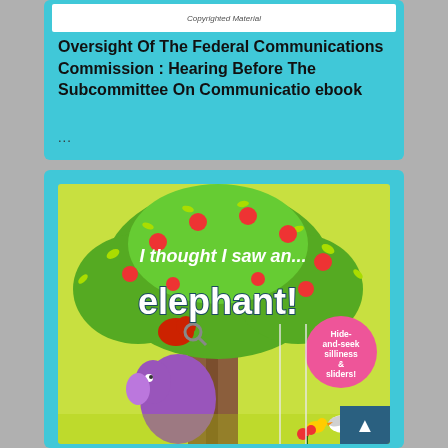Copyrighted Material
Oversight Of The Federal Communications Commission : Hearing Before The Subcommittee On Communicatio ebook
...
[Figure (illustration): Children's book cover: 'I thought I saw an... elephant!' with hide-and-seek sliders, featuring a colorful illustrated tree with an elephant peeking out and birds, on a yellow-green background. Pink badge reads 'Hide-and-seek silliness & sliders!']